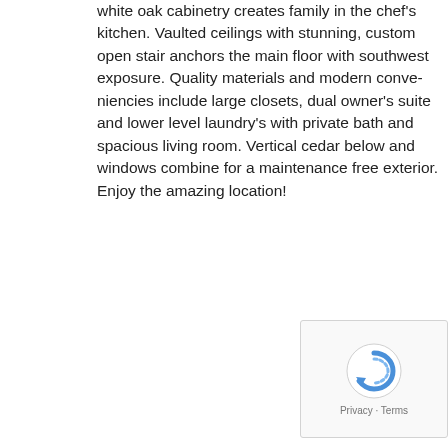white oak cabinetry creates family in the chef's kitchen. Vaulted ceilings with stunning, custom open stair anchors the main floor with southwest exposure. Quality materials and modern conveniencies include large closets, dual owner's suite and lower level laundry's with private bath and spacious living room. Vertical cedar below and windows combine for a maintenance free exterior. Enjoy the amazing location!
[Figure (other): reCAPTCHA widget with spinning arrow logo and Privacy/Terms links]